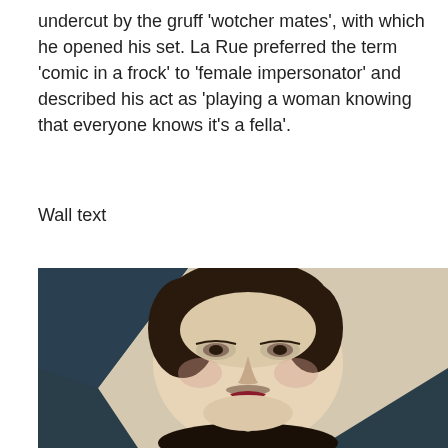undercut by the gruff 'wotcher mates', with which he opened his set. La Rue preferred the term 'comic in a frock' to 'female impersonator' and described his act as 'playing a woman knowing that everyone knows it's a fella'.
Wall text
[Figure (photo): A painted portrait of a person with androgynous features: slicked-back dark hair, dramatic eye makeup, red lips, visible mustache, wearing a white collar and dark fur garment with ornate brooch. The background is dark teal/blue and light beige.]